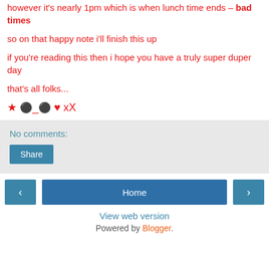however it's nearly 1pm which is when lunch time ends – bad times
so on that happy note i'll finish this up
if you're reading this then i hope you have a truly super duper day
that's all folks...
★ 🔴_🔴 ♥ xX
No comments:
Share
‹
Home
›
View web version
Powered by Blogger.